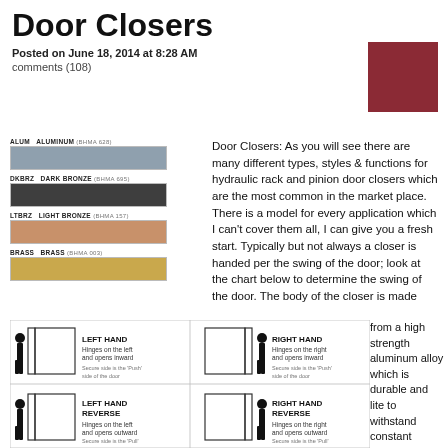Door Closers
Posted on June 18, 2014 at 8:28 AM
comments (108)
[Figure (infographic): A dark red/maroon square box in the top right corner, appearing to be a menu or image placeholder.]
[Figure (infographic): Color swatches showing four finish options: ALUM - ALUMINUM (BHMA 628) in gray, DKBRZ - DARK BRONZE (BHMA 695) in dark charcoal, LTBRZ - LIGHT BRONZE (BHMA 157) in tan/bronze, BRASS - BRASS (BHMA 003) in golden yellow.]
Door Closers: As you will see there are many different types, styles & functions for hydraulic rack and pinion door closers which are the most common in the market place. There is a model for every application which I can't cover them all, I can give you a fresh start. Typically but not always a closer is handed per the swing of the door; look at the chart below to determine the swing of the door. The body of the closer is made from a high strength aluminum alloy which is durable and lite to withstand constant pressure from from the separate adjustable controlling valves such as backcheck, sweep and latching or the optional delayed action to adjust the control
[Figure (infographic): Diagram showing four door handing configurations in a 2x2 grid: LEFT HAND (Hinges on the left and opens inward, Secure side is the 'Push' side of the door), RIGHT HAND (Hinges on the right and opens inward, Secure side is the 'Push' side of the door), LEFT HAND REVERSE (Hinges on the left and opens outward, Secure side is the 'Pull' side of the door), RIGHT HAND REVERSE (Hinges on the right and opens outward, Secure side is the 'Pull' side of the door). Each shows a silhouette of a person next to a door frame.]